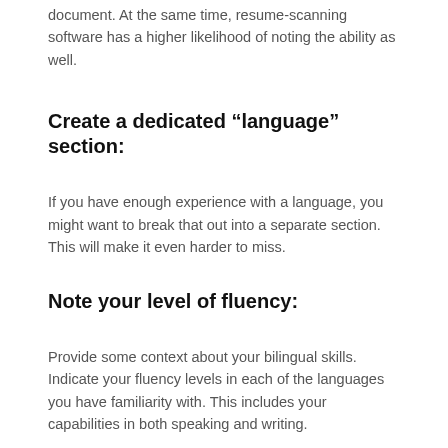document. At the same time, resume-scanning software has a higher likelihood of noting the ability as well.
Create a dedicated “language” section:
If you have enough experience with a language, you might want to break that out into a separate section. This will make it even harder to miss.
Note your level of fluency:
Provide some context about your bilingual skills. Indicate your fluency levels in each of the languages you have familiarity with. This includes your capabilities in both speaking and writing.
Customize for particular job